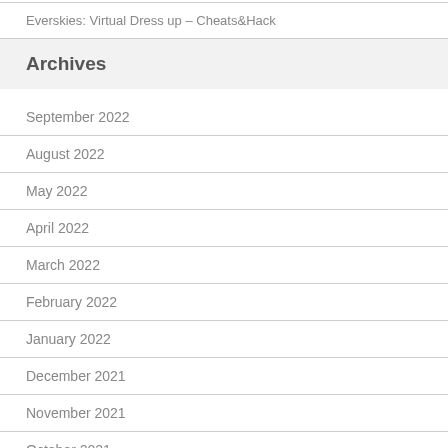Everskies: Virtual Dress up – Cheats&Hack
Archives
September 2022
August 2022
May 2022
April 2022
March 2022
February 2022
January 2022
December 2021
November 2021
October 2021